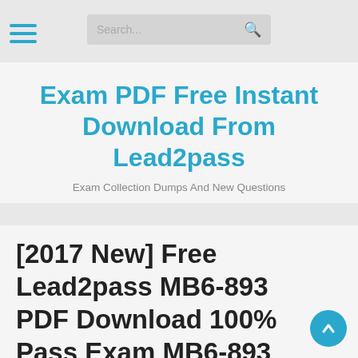Exam PDF Free Instant Download From Lead2pass
Exam PDF Free Instant Download From Lead2pass
Exam Collection Dumps And New Questions
[2017 New] Free Lead2pass MB6-893 PDF Download 100% Pass Exam MB6-893